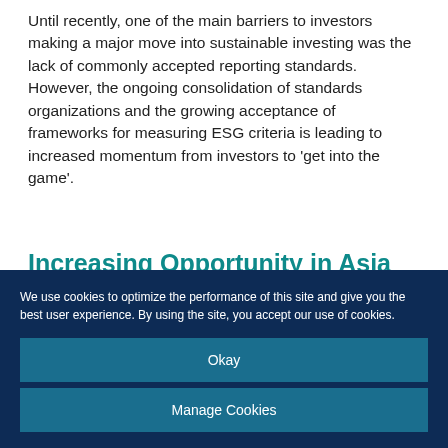Until recently, one of the main barriers to investors making a major move into sustainable investing was the lack of commonly accepted reporting standards. However, the ongoing consolidation of standards organizations and the growing acceptance of frameworks for measuring ESG criteria is leading to increased momentum from investors to 'get into the game'.
Increasing Opportunity in Asia Pacific
We use cookies to optimize the performance of this site and give you the best user experience. By using the site, you accept our use of cookies.
Okay
Manage Cookies